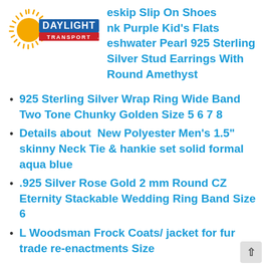[Figure (logo): Daylight Transport logo — sun rays with orange/yellow circle, red and blue horizontal bars, text DAYLIGHT in blue bold, TRANSPORT in red smaller text below]
eskip Slip On Shoes
nk Purple Kid's Flats
eshwater Pearl 925 Sterling Silver Stud Earrings With Round Amethyst
925 Sterling Silver Wrap Ring Wide Band Two Tone Chunky Golden Size 5 6 7 8
Details about  New Polyester Men's 1.5" skinny Neck Tie & hankie set solid formal aqua blue
.925 Silver Rose Gold 2 mm Round CZ Eternity Stackable Wedding Ring Band Size 6
L Woodsman Frock Coats/ jacket for fur trade re-enactments Size